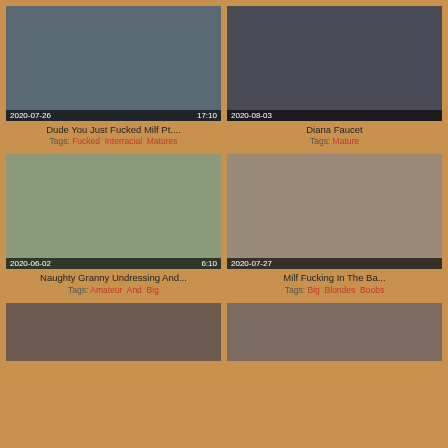[Figure (photo): Thumbnail of two people, date 2020-07-26, duration 17:10]
Dude You Just Fucked Milf Pt....
Tags: Fucked  Interracial  Matures
[Figure (photo): Thumbnail adult content, date 2020-08-03]
Diana Faucet
Tags: Mature
[Figure (photo): Thumbnail of woman on bed, date 2020-06-02, duration 6:10]
Naughty Granny Undressing And...
Tags: Amateur  And  Big
[Figure (photo): Thumbnail adult content, date 2020-07-27]
Milf Fucking In The Ba...
Tags: Big  Blondes  Boobs
[Figure (photo): Bottom left partial thumbnail]
[Figure (photo): Bottom right partial thumbnail]